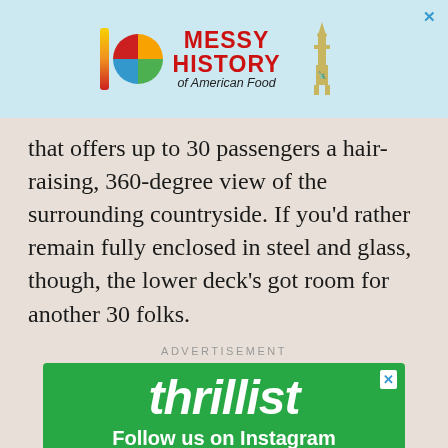[Figure (other): Advertisement banner for 'Messy History of American Food' with colorful logo bars and Statue of Liberty graphic on light blue background]
that offers up to 30 passengers a hair-raising, 360-degree view of the surrounding countryside. If you'd rather remain fully enclosed in steel and glass, though, the lower deck's got room for another 30 folks.
ADVERTISEMENT
[Figure (other): Thrillist advertisement with green background showing 'thrillist Follow us on Instagram' text and pizza photo below]